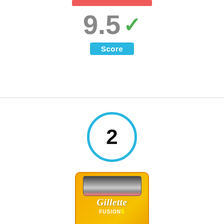[Figure (infographic): Red progress/score bar at top of section]
9.5 ✓
Score
[Figure (infographic): Blue circle with number 2 indicating rank]
[Figure (photo): Gillette Fusion5 Men's Razor Blades 8 Blade Refills product box in orange/yellow packaging]
Gillette Fusion5 Men's Razor Blades, 8 Blade Refills
By Gillette